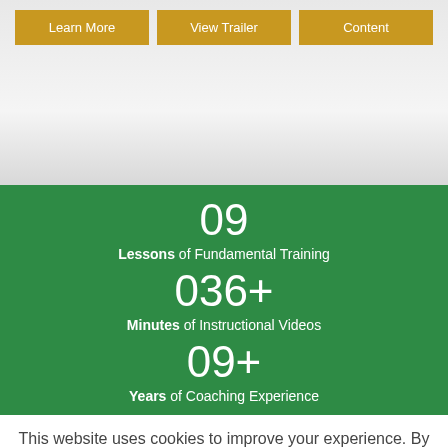[Figure (screenshot): Top banner area with light gray gradient background]
Learn More
View Trailer
Content
09 Lessons of Fundamental Training
036+ Minutes of Instructional Videos
09+ Years of Coaching Experience
This website uses cookies to improve your experience. By using our website, you accept our use of cookies.
Read More
OK